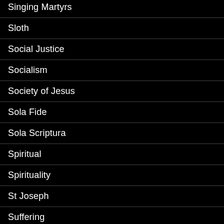Singing Martyrs
Sloth
Social Justice
Socialism
Society of Jesus
Sola Fide
Sola Scriptura
Spiritual
Spirituality
St Joseph
Suffering
Suso
Te Deum